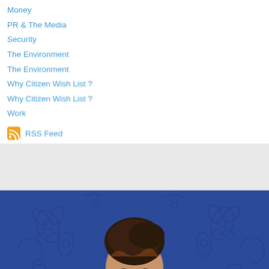Money
PR & The Media
Security
The Environment
The Environment
Why Citizen Wish List ?
Why Citizen Wish List ?
Work
RSS Feed
[Figure (photo): Portrait photograph of a woman with dark hair, smiling, against a blue decorative floral wallpaper background]